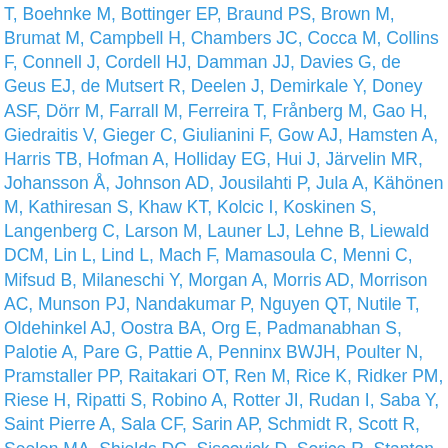T, Boehnke M, Bottinger EP, Braund PS, Brown M, Brumat M, Campbell H, Chambers JC, Cocca M, Collins F, Connell J, Cordell HJ, Damman JJ, Davies G, de Geus EJ, de Mutsert R, Deelen J, Demirkale Y, Doney ASF, Dörr M, Farrall M, Ferreira T, Frånberg M, Gao H, Giedraitis V, Gieger C, Giulianini F, Gow AJ, Hamsten A, Harris TB, Hofman A, Holliday EG, Hui J, Järvelin MR, Johansson Å, Johnson AD, Jousilahti P, Jula A, Kähönen M, Kathiresan S, Khaw KT, Kolcic I, Koskinen S, Langenberg C, Larson M, Launer LJ, Lehne B, Liewald DCM, Lin L, Lind L, Mach F, Mamasoula C, Menni C, Mifsud B, Milaneschi Y, Morgan A, Morris AD, Morrison AC, Munson PJ, Nandakumar P, Nguyen QT, Nutile T, Oldehinkel AJ, Oostra BA, Org E, Padmanabhan S, Palotie A, Pare G, Pattie A, Penninx BWJH, Poulter N, Pramstaller PP, Raitakari OT, Ren M, Rice K, Ridker PM, Riese H, Ripatti S, Robino A, Rotter JI, Rudan I, Saba Y, Saint Pierre A, Sala CF, Sarin AP, Schmidt R, Scott R, Seelen MA, Shields DC, Siscovick D, Sorice R, Stanton A, Stott DJ, Sundström J, Swertz M, Taylor KD, Thom S, Tzoulaki I, Tzourio C, Uitterlinden AG, Völker U, Vollenweider P, Wild S, Willemsen G, Wright AF, Yao...